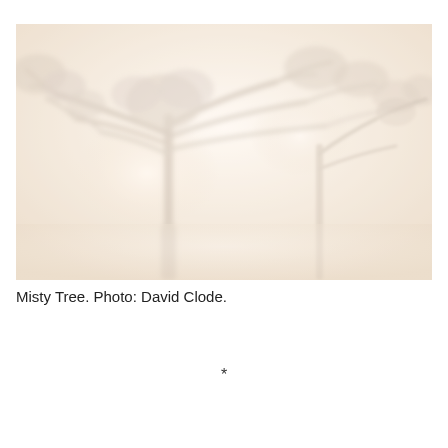[Figure (photo): A misty forest photograph showing tall trees silhouetted against a bright, hazy white sky. The trees appear large with spreading canopies, rendered in soft warm beige and grey tones through mist or fog. The image has a dreamlike, overexposed quality with very light, washed-out tones.]
Misty Tree. Photo: David Clode.
*